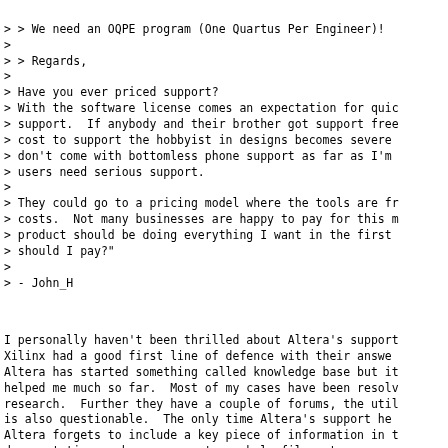> > We need an OQPE program (One Quartus Per Engineer)!
>
> > Regards,
>
> Have you ever priced support?
> With the software license comes an expectation for quic
> support.  If anybody and their brother got support free
> cost to support the hobbyist in designs becomes severe
> don't come with bottomless phone support as far as I'm
> users need serious support.
>
> They could go to a pricing model where the tools are fr
> costs.  Not many businesses are happy to pay for this m
> product should be doing everything I want in the first
> should I pay?"
>
> - John_H
I personally haven't been thrilled about Altera's support
Xilinx had a good first line of defence with their answe
Altera has started something called knowledge base but it
helped me much so far.  Most of my cases have been resolv
research.  Further they have a couple of forums, the util
is also questionable.  The only time Altera's support he
Altera forgets to include a key piece of information in t
documentation such as an errata or help file, etc.
Nevertheless, I agree that Q2 is getting complicated enou
need a group to answer questions and act as first line of
Unfortunately, so far it is hasn't been reliable.